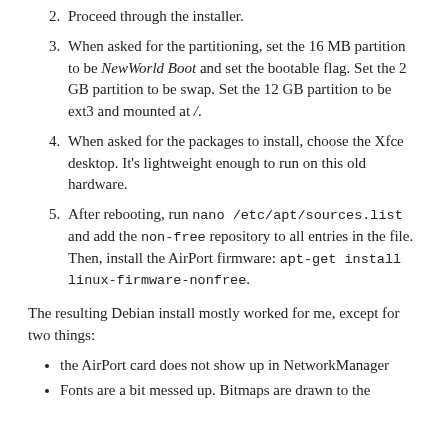2. Proceed through the installer.
3. When asked for the partitioning, set the 16 MB partition to be NewWorld Boot and set the bootable flag. Set the 2 GB partition to be swap. Set the 12 GB partition to be ext3 and mounted at /.
4. When asked for the packages to install, choose the Xfce desktop. It's lightweight enough to run on this old hardware.
5. After rebooting, run nano /etc/apt/sources.list and add the non-free repository to all entries in the file. Then, install the AirPort firmware: apt-get install linux-firmware-nonfree.
The resulting Debian install mostly worked for me, except for two things:
the AirPort card does not show up in NetworkManager
Fonts are a bit messed up. Bitmaps are drawn to the